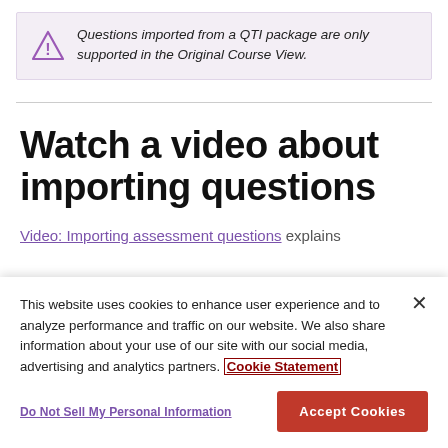Questions imported from a QTI package are only supported in the Original Course View.
Watch a video about importing questions
Video: Importing assessment questions explains
This website uses cookies to enhance user experience and to analyze performance and traffic on our website. We also share information about your use of our site with our social media, advertising and analytics partners. Cookie Statement
Do Not Sell My Personal Information
Accept Cookies